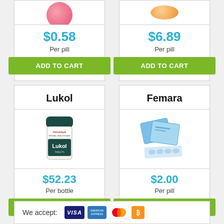[Figure (photo): Product card showing pink pill image (cropped top), price $0.58 per pill, Add to Cart button]
[Figure (photo): Product card showing orange/tan pill image (cropped top), price $6.89 per pill, Add to Cart button]
Lukol
[Figure (photo): Himalaya Lukol bottle - dark green cap, white label]
$52.23 Per bottle
Femara
[Figure (photo): Femara medication boxes and blister pack in blue]
$2.00 Per pill
We accept: